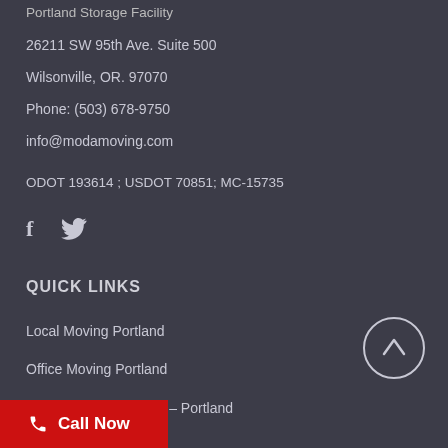Portland Storage Facility
26211 SW 95th Ave. Suite 500
Wilsonville, OR. 97070
Phone: (503) 678-9750
info@modamoving.com
ODOT 193614 ; USDOT 70851; MC-15735
[Figure (other): Social media icons: Facebook (f) and Twitter bird icon]
QUICK LINKS
Local Moving Portland
Office Moving Portland
Long Distance Movers – Portland
...ving Companies
[Figure (other): Back to top button: circle with upward arrow]
Call Now